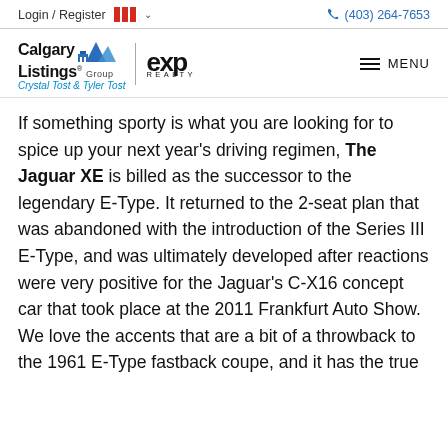Login / Register  (403) 264-7653
[Figure (logo): Calgary Listings Group logo with mountain icon, eXp Realty logo, and MENU button]
If something sporty is what you are looking for to spice up your next year's driving regimen, The Jaguar XE is billed as the successor to the legendary E-Type. It returned to the 2-seat plan that was abandoned with the introduction of the Series III E-Type, and was ultimately developed after reactions were very positive for the Jaguar's C-X16 concept car that took place at the 2011 Frankfurt Auto Show. We love the accents that are a bit of a throwback to the 1961 E-Type fastback coupe, and it has the true